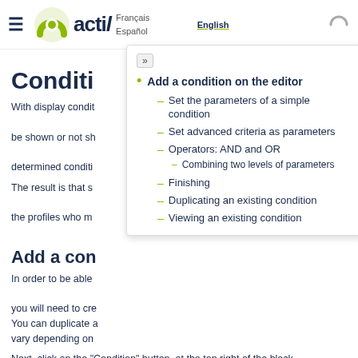actil — Français / English / Español
Conditioning an E-mail
Conditioning an E-mail
With display conditions, you can determine whether a block will be shown or not shown in an email depending on one or more determined conditions.
The result is that some email recipients will see the block, and the profiles who meet the condition will also see it.
Add a condition on the editor
Add a condition on the editor
Set the parameters of a simple condition
Set advanced criteria as parameters
Operators: AND and OR
Combining two levels of parameters
Finishing
Duplicating an existing condition
Viewing an existing condition
In order to be able to add a condition on a block in the editor, you will need to create a condition. You can duplicate an existing condition. The result may vary depending on
Next, click on the "Condition" button, at the top right of the block